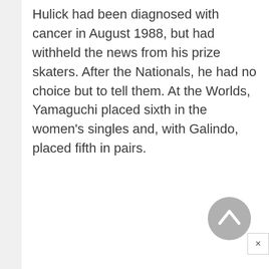Hulick had been diagnosed with cancer in August 1988, but had withheld the news from his prize skaters. After the Nationals, he had no choice but to tell them. At the Worlds, Yamaguchi placed sixth in the women's singles and, with Galindo, placed fifth in pairs.
[Figure (other): A circular grey scroll-to-top button with an upward-pointing chevron icon, and a small close (×) button below-right.]